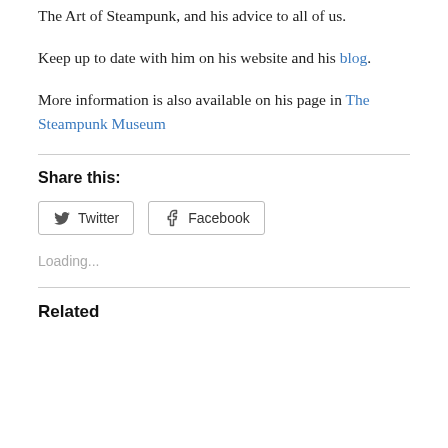The Art of Steampunk, and his advice to all of us.
Keep up to date with him on his website and his blog.
More information is also available on his page in The Steampunk Museum
Share this:
Twitter  Facebook
Loading...
Related